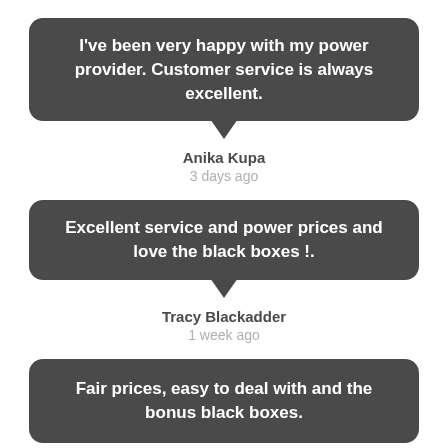I've been very happy with my power provider. Customer service is always excellent.
Anika Kupa
3 days ago
Excellent service and power prices and love the black boxes !.
Tracy Blackadder
1 week ago
Fair prices, easy to deal with and the bonus black boxes.